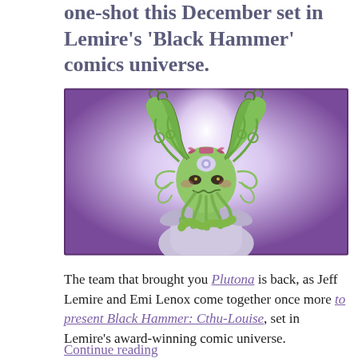one-shot this December set in Lemire's 'Black Hammer' comics universe.
[Figure (illustration): Illustrated comic book character: a green-skinned girl with tentacle-like green hair styled in pigtails, wearing a white/grey outfit. She has a third eye on her forehead and tentacles around her lower face like Cthulhu. The background is purple watercolor wash with a bright white glow behind her.]
The team that brought you Plutona is back, as Jeff Lemire and Emi Lenox come together once more to present Black Hammer: Cthu-Louise, set in Lemire's award-winning comic universe.
Continue reading